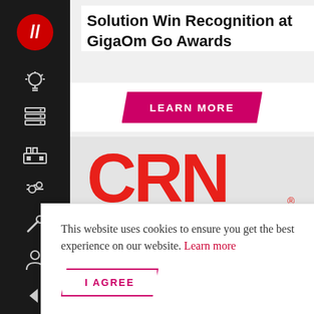Solution Win Recognition at GigaOm Go Awards
[Figure (screenshot): LEARN MORE button in magenta/pink with parallelogram shape]
[Figure (logo): CRN logo in red on light gray background]
This website uses cookies to ensure you get the best experience on our website. Learn more
[Figure (screenshot): I AGREE button with parallelogram shape, pink/magenta border]
[Figure (screenshot): ANNUAL text in white on black background at bottom]
[Figure (screenshot): Dark sidebar with icons including logo, lightbulb, grid, factory, settings, tool, person, and checkbox]